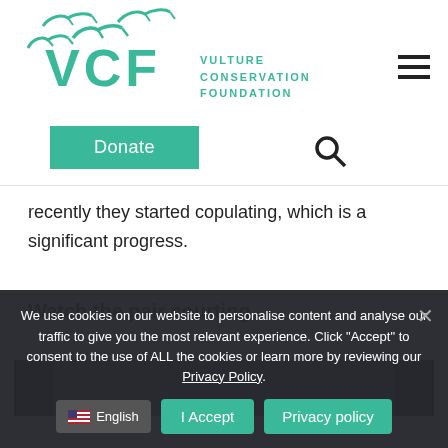[Figure (logo): VCF Vulture Conservation Foundation logo with birds silhouettes and teal text]
recently they started copulating, which is a significant progress.
Watch the pair courting
[Figure (screenshot): Video player screenshot showing birds, partially visible]
We use cookies on our website to personalise content and analyse our traffic to give you the most relevant experience. Click "Accept" to consent to the use of ALL the cookies or learn more by reviewing our Privacy Policy.